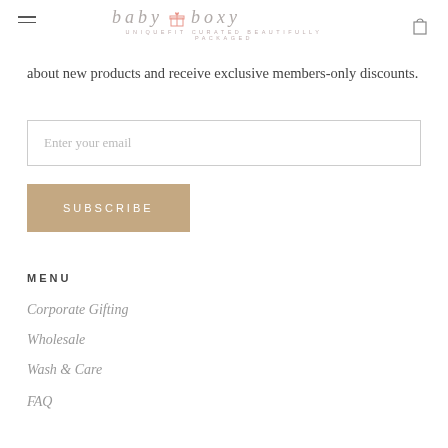baby 🎁 boxy — UNIQUEFIT CURATED BEAUTIFULLY PACKAGED
about new products and receive exclusive members-only discounts.
Enter your email
SUBSCRIBE
MENU
Corporate Gifting
Wholesale
Wash & Care
FAQ